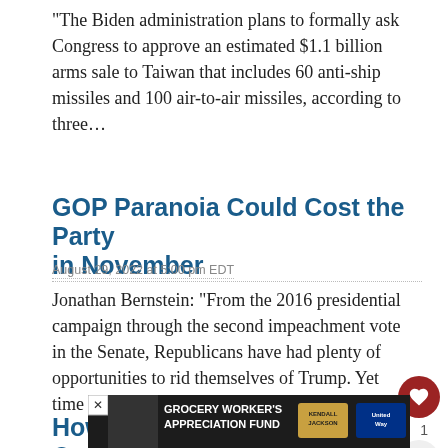“The Biden administration plans to formally ask Congress to approve an estimated $1.1 billion arms sale to Taiwan that includes 60 anti-ship missiles and 100 air-to-air missiles, according to three…
GOP Paranoia Could Cost the Party in November
August 29, 2022 at 5:00 pm EDT
Jonathan Bernstein: “From the 2016 presidential campaign through the second impeachment vote in the Senate, Republicans have had plenty of opportunities to rid themselves of Trump. Yet time after time,…
How Congress Has Changed Over
[Figure (other): Advertisement banner: Grocery Worker's Appreciation Fund with Kendall-Jackson and United Way logos]